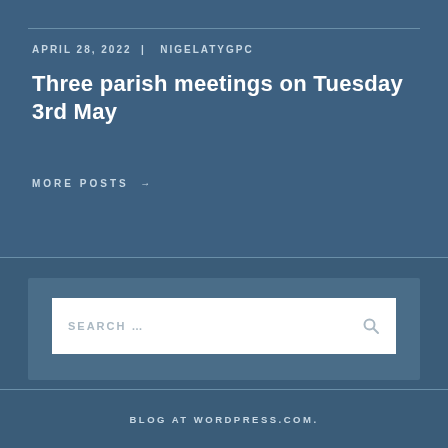APRIL 28, 2022 | NIGELATYGPC
Three parish meetings on Tuesday 3rd May
MORE POSTS →
[Figure (other): Search widget box with placeholder text 'SEARCH ...' and a magnifying glass icon]
BLOG AT WORDPRESS.COM.